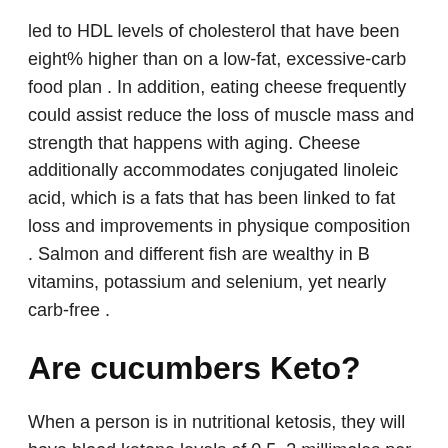led to HDL levels of cholesterol that have been eight% higher than on a low-fat, excessive-carb food plan . In addition, eating cheese frequently could assist reduce the loss of muscle mass and strength that happens with aging. Cheese additionally accommodates conjugated linoleic acid, which is a fats that has been linked to fat loss and improvements in physique composition . Salmon and different fish are wealthy in B vitamins, potassium and selenium, yet nearly carb-free .
Are cucumbers Keto?
When a person is in nutritional ketosis, they will have blood ketone levels of 0.5–3 millimoles per liter. Alternatively, people can use a breath